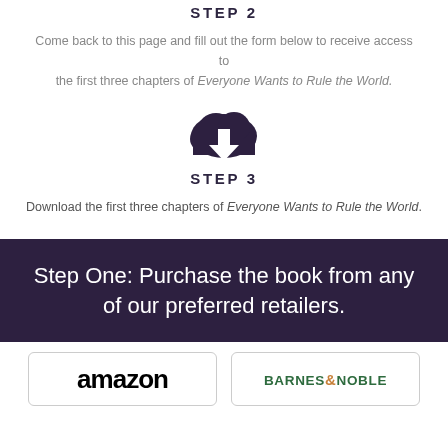STEP 2
Come back to this page and fill out the form below to receive access to the first three chapters of Everyone Wants to Rule the World.
[Figure (illustration): Dark purple cloud with a downward arrow (download icon)]
STEP 3
Download the first three chapters of Everyone Wants to Rule the World.
Step One: Purchase the book from any of our preferred retailers.
[Figure (logo): Amazon logo in bold black text]
[Figure (logo): Barnes & Noble logo in green and orange text]